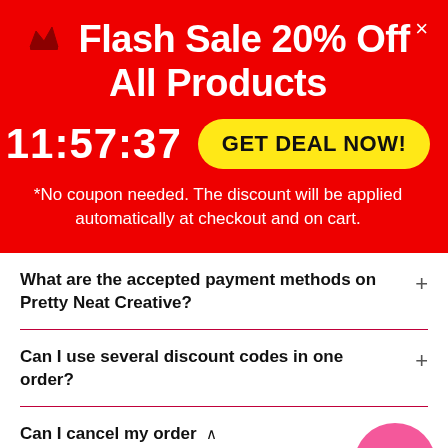Flash Sale 20% Off All Products
11:57:37
GET DEAL NOW!
*No coupon needed. The discount will be applied automatically at checkout and on cart.
What are the accepted payment methods on Pretty Neat Creative?
Can I use several discount codes in one order?
Can I cancel my order